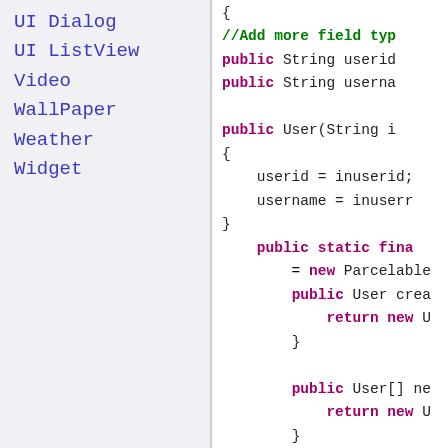UI Dialog
UI ListView
Video
WallPaper
Weather
Widget
{
//Add more field typ
public String userid
public String userna

public User(String i
{
    userid = inuserid;
    username = inusern
}
    public static fina
        = new Parcelable
        public User crea
            return new U
        }

        public User[] ne
            return new U
        }
    }; //end of creato

//
@Override
public int describeC